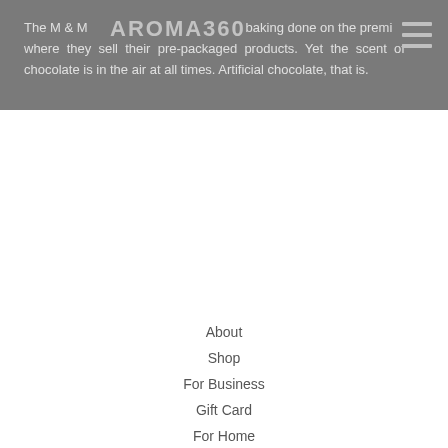The M & M...AROMA360...baking done on the premises where they sell their pre-packaged products. Yet the scent of chocolate is in the air at all times. Artificial chocolate, that is.
About
Shop
For Business
Gift Card
For Home
Contact
Request Samples
Frequently Asked Questions
The Art of Aroma